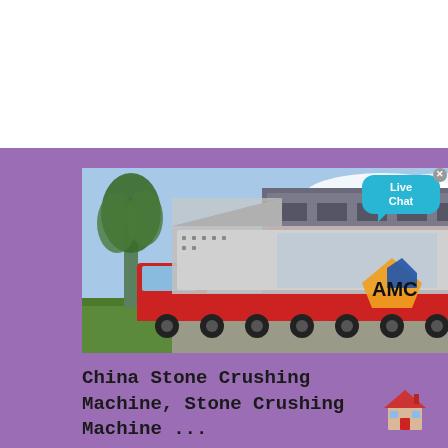[Figure (photo): A large industrial stone crushing machine loaded on a flatbed red truck, parked outside an industrial building. AMC logo visible on the machine. A tree is on the left side. Live Chat bubble overlay in top right corner.]
China Stone Crushing Machine, Stone Crushing Machine ...